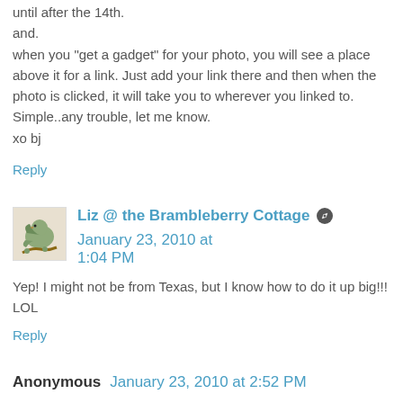until after the 14th.
and.
when you "get a gadget" for your photo, you will see a place above it for a link. Just add your link there and then when the photo is clicked, it will take you to wherever you linked to. Simple..any trouble, let me know.
xo bj
Reply
Liz @ the Brambleberry Cottage   January 23, 2010 at 1:04 PM
Yep! I might not be from Texas, but I know how to do it up big!!! LOL
Reply
Anonymous   January 23, 2010 at 2:52 PM
Wow. I'm here by way of BJ/Sweet Nothings (I see her in the first comment). I'm SOOOOOOO ... glad I came by. Oh I love your, how did you say it rusty crusty flaking paint ...